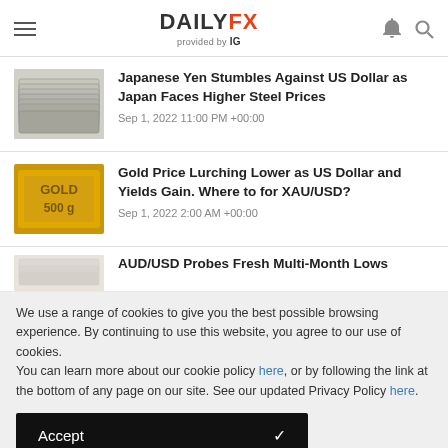DAILYFX provided by IG
Japanese Yen Stumbles Against US Dollar as Japan Faces Higher Steel Prices
Sep 1, 2022 11:00 PM +00:00
Gold Price Lurching Lower as US Dollar and Yields Gain. Where to for XAU/USD?
Sep 1, 2022 2:00 AM +00:00
AUD/USD Probes Fresh Multi-Month Lows
We use a range of cookies to give you the best possible browsing experience. By continuing to use this website, you agree to our use of cookies.
You can learn more about our cookie policy here, or by following the link at the bottom of any page on our site. See our updated Privacy Policy here.
Accept